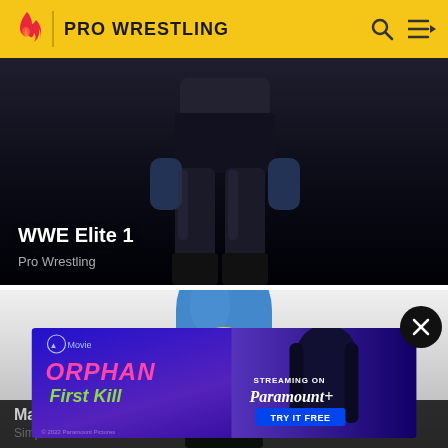PRO WRESTLING
[Figure (screenshot): WWE Elite 1 action figure card with dark background showing wrestler legs]
WWE Elite 1
Pro Wrestling
[Figure (illustration): Marge Simpson cartoon character from Simpsons Wiki on grey background]
Marge
Simpsons wiki
[Figure (screenshot): Advertisement banner for Orphan: First Kill movie streaming on Paramount+. Shows the movie title in pink text alongside a dark-haired woman, with Paramount+ logo and TRY IT FREE button.]